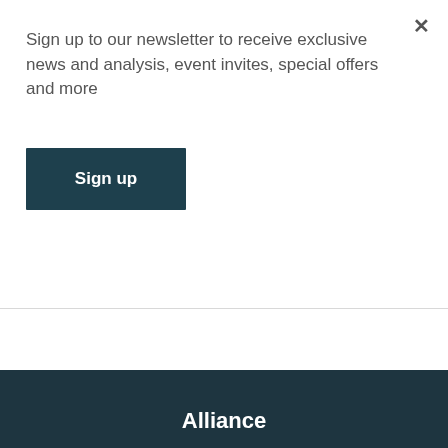Sign up to our newsletter to receive exclusive news and analysis, event invites, special offers and more
Sign up
Website
Save my name, email, and website in this browser for the next time I comment.
Submit
Alliance